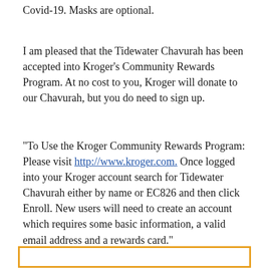Covid-19. Masks are optional.
I am pleased that the Tidewater Chavurah has been accepted into Kroger's Community Rewards Program. At no cost to you, Kroger will donate to our Chavurah, but you do need to sign up.
"To Use the Kroger Community Rewards Program:
Please visit http://www.kroger.com. Once logged into your Kroger account search for Tidewater Chavurah either by name or EC826 and then click Enroll. New users will need to create an account which requires some basic information, a valid email address and a rewards card."
[Figure (other): Orange-bordered box at the bottom of the page, partially visible]